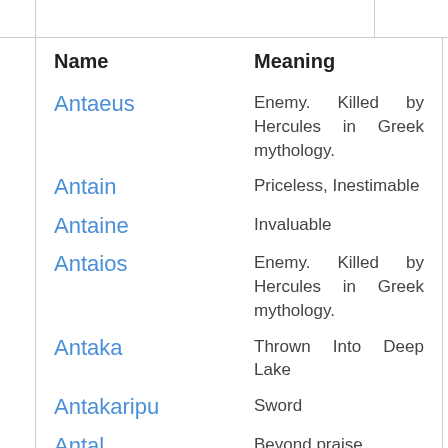| Name | Meaning |
| --- | --- |
| Antaeus | Enemy. Killed by Hercules in Greek mythology. |
| Antain | Priceless, Inestimable |
| Antaine | Invaluable |
| Antaios | Enemy. Killed by Hercules in Greek mythology. |
| Antaka | Thrown Into Deep Lake |
| Antakaripu | Sword |
| Antal | Beyond praise |
| Antam | Nearest. Intimate as afriend |